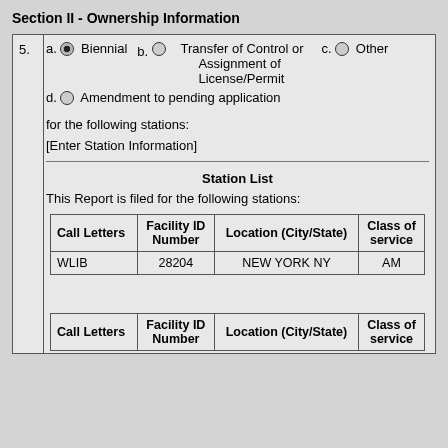Section II - Ownership Information
5. a. ● Biennial   b. ○ Transfer of Control or Assignment of License/Permit   c. ○ Other   d. ○ Amendment to pending application

for the following stations:

[Enter Station Information]
Station List
This Report is filed for the following stations:
| Call Letters | Facility ID Number | Location (City/State) | Class of service |
| --- | --- | --- | --- |
| WLIB | 28204 | NEW YORK NY | AM |
| Call Letters | Facility ID Number | Location (City/State) | Class of service |
| --- | --- | --- | --- |